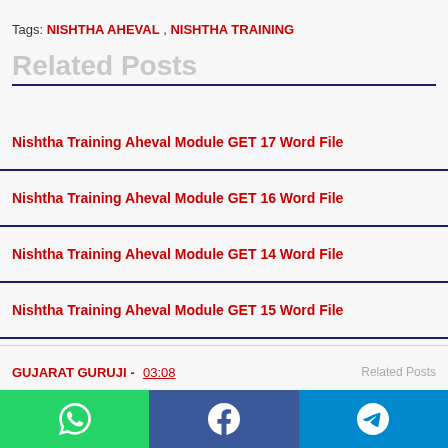Tags: NISHTHA AHEVAL , NISHTHA TRAINING
Related Posts
Nishtha Training Aheval Module GET 17 Word File
Nishtha Training Aheval Module GET 16 Word File
Nishtha Training Aheval Module GET 14 Word File
Nishtha Training Aheval Module GET 15 Word File
Nishtha Training Aheval Module GET 12 Word File
GUJARAT GURUJI - 03:08   Related Posts